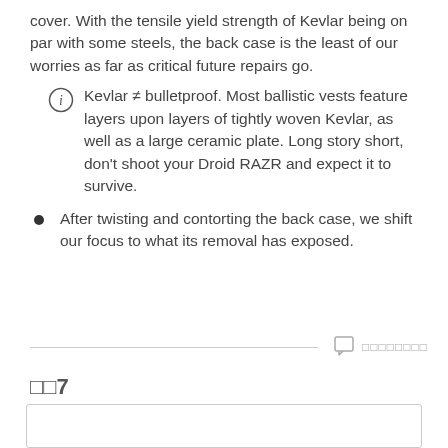cover. With the tensile yield strength of Kevlar being on par with some steels, the back case is the least of our worries as far as critical future repairs go.
Kevlar ≠ bulletproof. Most ballistic vests feature layers upon layers of tightly woven Kevlar, as well as a large ceramic plate. Long story short, don't shoot your Droid RAZR and expect it to survive.
After twisting and contorting the back case, we shift our focus to what its removal has exposed.
□□□□□□□□
□□7
[Figure (other): Empty white box with border at bottom of page]